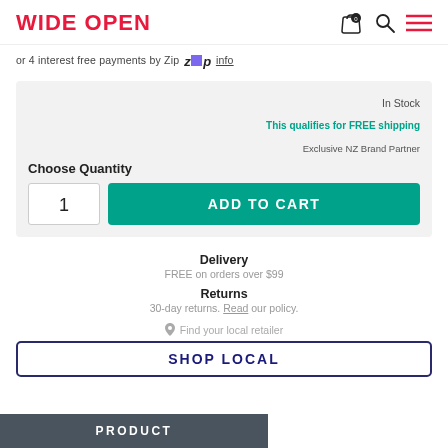WIDE OPEN
or 4 interest free payments by Zip info
In Stock
This qualifies for FREE shipping
Exclusive NZ Brand Partner
Choose Quantity
1
ADD TO CART
Delivery
FREE on orders over $99
Returns
30-day returns. Read our policy.
Find your local retailer
SHOP LOCAL
PRODUCT